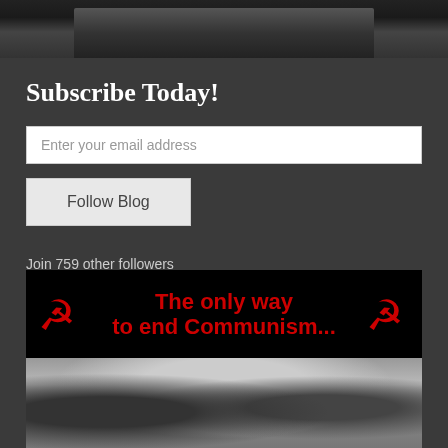[Figure (photo): Partial photo cropped at top, showing a dark image at the top of the page]
Subscribe Today!
Enter your email address
Follow Blog
Join 759 other followers
[Figure (photo): Image with black banner at top with red text reading 'The only way to end Communism...' with red hammer and sickle symbols on each side, below is a black and white photograph showing people on a street scene]